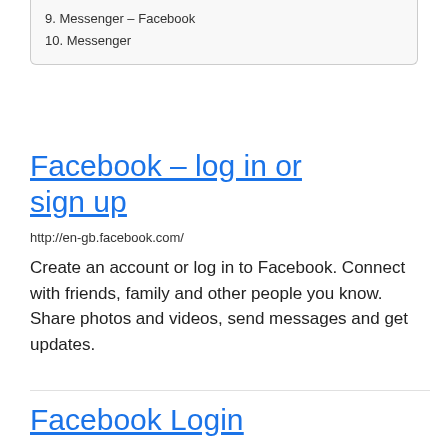9. Messenger – Facebook
10. Messenger
Facebook – log in or sign up
http://en-gb.facebook.com/
Create an account or log in to Facebook. Connect with friends, family and other people you know. Share photos and videos, send messages and get updates.
Facebook Login